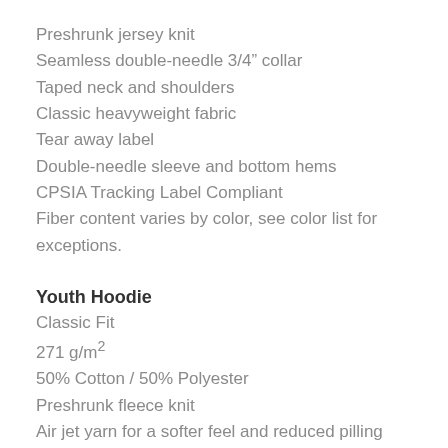Preshrunk jersey knit
Seamless double-needle 3/4” collar
Taped neck and shoulders
Classic heavyweight fabric
Tear away label
Double-needle sleeve and bottom hems
CPSIA Tracking Label Compliant
Fiber content varies by color, see color list for exceptions.
Youth Hoodie
Classic Fit
271 g/m²
50% Cotton / 50% Polyester
Preshrunk fleece knit
Air jet yarn for a softer feel and reduced pilling
Double-lined hood
Tear away label